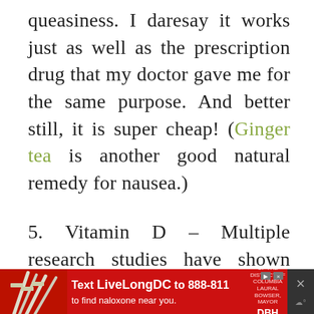queasiness. I daresay it works just as well as the prescription drug that my doctor gave me for the same purpose. And better still, it is super cheap! (Ginger tea is another good natural remedy for nausea.)

5. Vitamin D – Multiple research studies have shown vitamin D deficiency may contribute to chronic pain. I remember reading an article years ago that said anyone who lives north of Florida is probably vitamin D deficient because of the positioning of the sun; a simple blood te...
[Figure (other): Advertisement banner at the bottom of the page. Red background with syringes image on left. Text reads 'Text LiveLongDC to 888-811 to find naloxone near you.' with DBH logo. Close button on right.]